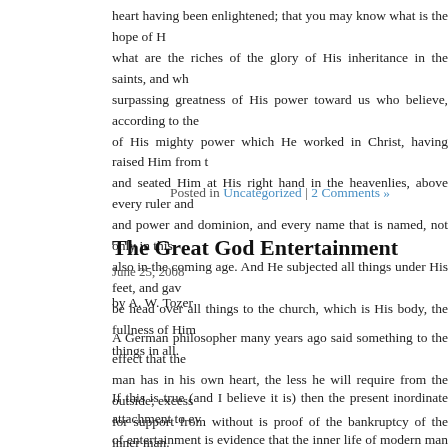heart having been enlightened; that you may know what is the hope of His calling, what are the riches of the glory of His inheritance in the saints, and what is the surpassing greatness of His power toward us who believe, according to the working of His mighty power which He worked in Christ, having raised Him from the dead and seated Him at His right hand in the heavenlies, above every ruler and authority and power and dominion, and every name that is named, not only in this age but also in the coming age. And He subjected all things under His feet, and gave Him to be head over all things to the church, which is His body, the fullness of Him who fills all things in all.
Posted in Uncategorized | 2 Comments »
The Great God Entertainment
June 25, 2008
by A. W. Tozer
A German philosopher many years ago said something to the effect that the more a man has in his own heart, the less he will require from the outside; excessive need for support from without is proof of the bankruptcy of the inner man.
If this is true (and I believe it is) then the present inordinate attachment to every form of entertainment is evidence that the inner life of modern man is in serious danger. The average man has no central core of moral assurance, no spring within his own breast, no inner strength to place him above the need for repeated psychological shots to give him the courage to go on living. He has become a parasite on the world, drawing his life from his environment, unable to live a day apart from the stimulation which society affords him.